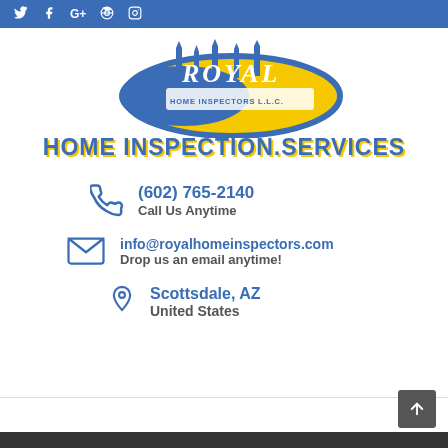Social media icons: Twitter, Facebook, Google+, Pinterest, Instagram
[Figure (logo): Royal Home Inspectors LLC logo - blue oval with yellow background, castle spires, text ROYAL HOME INSPECTORS L.L.C., below reads HOME INSPECTION.SERVICES in bold blue with yellow shadow]
(602) 765-2140 Call Us Anytime
info@royalhomeinspectors.com Drop us an email anytime!
Scottsdale, AZ United States